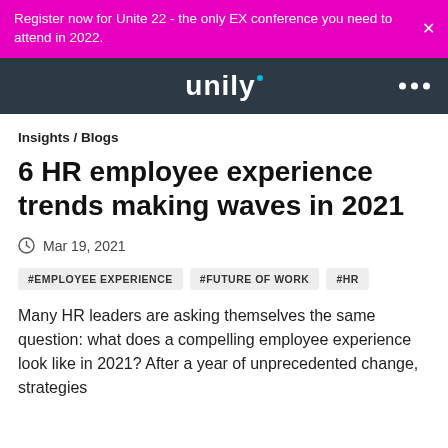Register now for Unite 22 - the only EX conference you need to attend in 2022.
[Figure (logo): Unily logo on dark navy background with three dot menu icon]
Insights / Blogs
6 HR employee experience trends making waves in 2021
Mar 19, 2021
#EMPLOYEE EXPERIENCE
#FUTURE OF WORK
#HR
Many HR leaders are asking themselves the same question: what does a compelling employee experience look like in 2021? After a year of unprecedented change, strategies